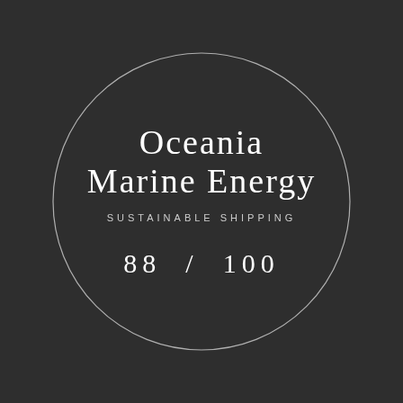[Figure (logo): Oceania Marine Energy logo: dark circular badge with thin white circle outline on dark grey background. Contains company name 'Oceania Marine Energy' in serif font, subtitle 'SUSTAINABLE SHIPPING' in small caps, and score '88 / 100'.]
Oceania Marine Energy
SUSTAINABLE SHIPPING
88 / 100